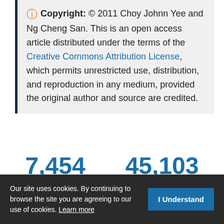Copyright: © 2011 Choy Johnn Yee and Ng Cheng San. This is an open access article distributed under the terms of the Creative Commons Attribution License, which permits unrestricted use, distribution, and reproduction in any medium, provided the original author and source are credited.
7,454 Views
45,103 Downloads
16 Citations
Our site uses cookies. By continuing to browse the site you are agreeing to our use of cookies. Learn more  I Understand